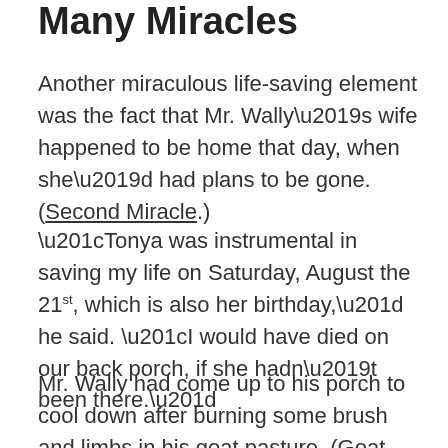Many Miracles
Another miraculous life-saving element was the fact that Mr. Wally’s wife happened to be home that day, when she’d had plans to be gone. (Second Miracle.)
“Tonya was instrumental in saving my life on Saturday, August the 21st, which is also her birthday,” he said. “I would have died on our back porch, if she hadn’t been there.”
Mr. Wally had come up to his porch to cool down after burning some brush and limbs in his goat pasture. (Goat pasture? Let’s back up a little bit to learn about one of his side